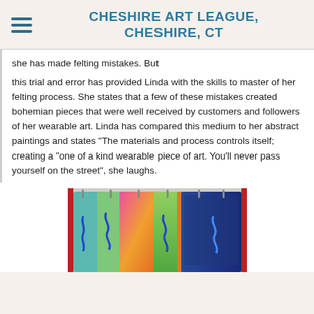CHESHIRE ART LEAGUE, CHESHIRE, CT
she has made felting mistakes. But this trial and error has provided Linda with the skills to master of her felting process. She states that a few of these mistakes created bohemian pieces that were well received by customers and followers of her wearable art. Linda has compared this medium to her abstract paintings and states "The materials and process controls itself; creating a "one of a kind wearable piece of art. You'll never pass yourself on the street", she laughs.
[Figure (photo): Photo of colorful felted wearable art pieces hanging on a rack, showing various vibrant colors including green, pink, orange, yellow and blue patterned scarves or garments.]